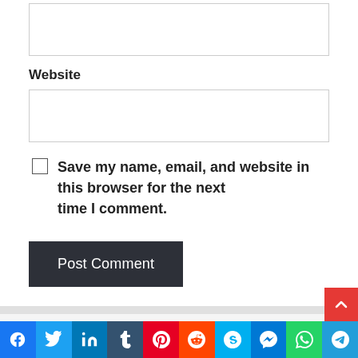[Website input field]
Website
[Website URL input box]
Save my name, email, and website in this browser for the next time I comment.
Post Comment
Judge Your Dreams...
Search
Search